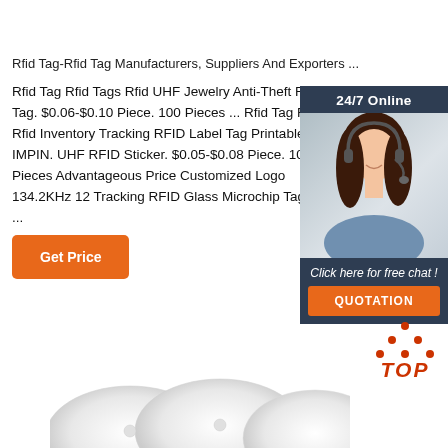Rfid Tag-Rfid Tag Manufacturers, Suppliers And Exporters ...
Rfid Tag Rfid Tags Rfid UHF Jewelry Anti-Theft RFID Tag. $0.06-$0.10 Piece. 100 Pieces ... Rfid Tag Rfid Rfid Inventory Tracking RFID Label Tag Printable IMPIN. UHF RFID Sticker. $0.05-$0.08 Piece. 1000 Pieces Advantageous Price Customized Logo 134.2KHz 12 Tracking RFID Glass Microchip Tag. $0.50 ...
[Figure (photo): Customer service representative woman with headset, 24/7 Online chat widget with dark blue background and orange QUOTATION button]
Get Price
[Figure (logo): TOP button logo with orange dots arranged in triangle above red-orange TOP text]
[Figure (photo): White circular RFID disc tags shown at bottom of page]